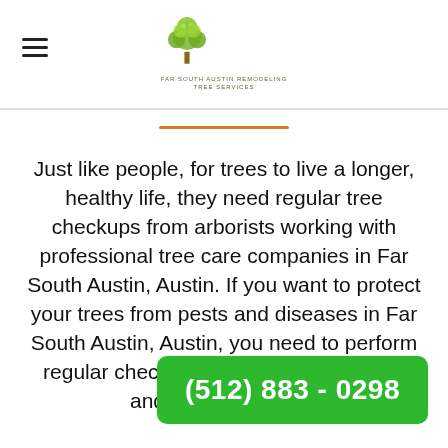Far South Austin Tree Services logo with hamburger menu
[Figure (logo): Tree logo with green tree illustration and company name text below]
Just like people, for trees to live a longer, healthy life, they need regular tree checkups from arborists working with professional tree care companies in Far South Austin, Austin. If you want to protect your trees from pests and diseases in Far South Austin, Austin, you need to perform regular checkups for early tree disease and pests detection.
(512) 883 - 0298